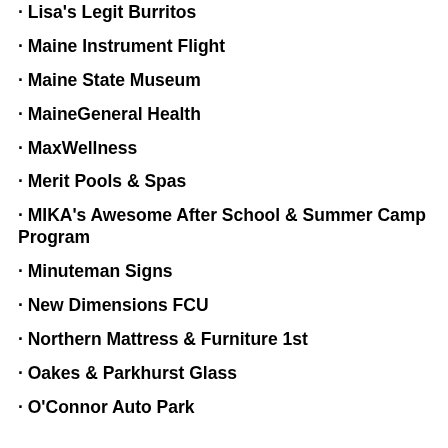· Lisa's Legit Burritos
· Maine Instrument Flight
· Maine State Museum
· MaineGeneral Health
· MaxWellness
· Merit Pools & Spas
· MIKA's Awesome After School & Summer Camp Program
· Minuteman Signs
· New Dimensions FCU
· Northern Mattress & Furniture 1st
· Oakes & Parkhurst Glass
· O'Connor Auto Park